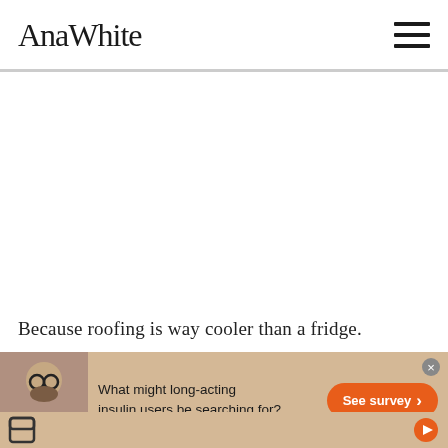AnaWhite
Because roofing is way cooler than a fridge.
[Figure (photo): Advertisement banner with a bearded man wearing glasses and a gray shirt, text reading 'What might long-acting insulin users be searching for?' and an orange 'See survey' button]